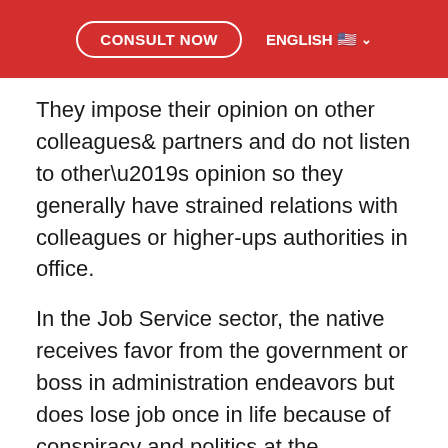CONSULT NOW | ENGLISH
They impose their opinion on other colleagues& partners and do not listen to other’s opinion so they generally have strained relations with colleagues or higher-ups authorities in office.
In the Job Service sector, the native receives favor from the government or boss in administration endeavors but does lose job once in life because of conspiracy and politics at the workplace. Growth and promotion, as well as popularity with Kudos and Plaudits, will be granted to native after 42 years of age with a large income. The native flourishes in foreign countries and attain wealth